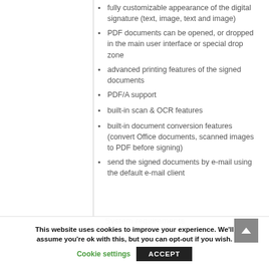fully customizable appearance of the digital signature (text, image, text and image)
PDF documents can be opened, or dropped in the main user interface or special drop zone
advanced printing features of the signed documents
PDF/A support
built-in scan & OCR features
built-in document conversion features (convert Office documents, scanned images to PDF before signing)
send the signed documents by e-mail using the default e-mail client
System requirements
This website uses cookies to improve your experience. We'll assume you're ok with this, but you can opt-out if you wish.
Cookie settings
ACCEPT